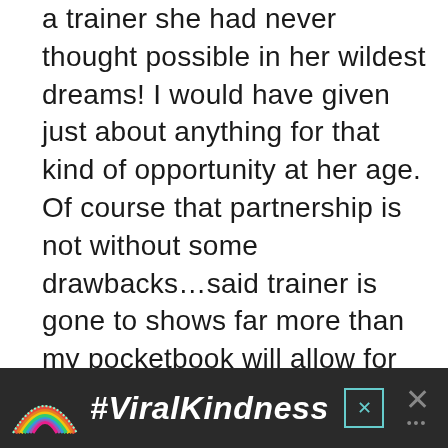a trainer she had never thought possible in her wildest dreams! I would have given just about anything for that kind of opportunity at her age. Of course that partnership is not without some drawbacks…said trainer is gone to shows far more than my pocketbook will allow for us to attend. So we piece together plans, and cultivate a village.
[Figure (infographic): Advertisement banner with dark background showing a rainbow illustration on the left, bold italic white text '#ViralKindness' in the center, a small teal close button with X, and a large grey X with dots on the right.]